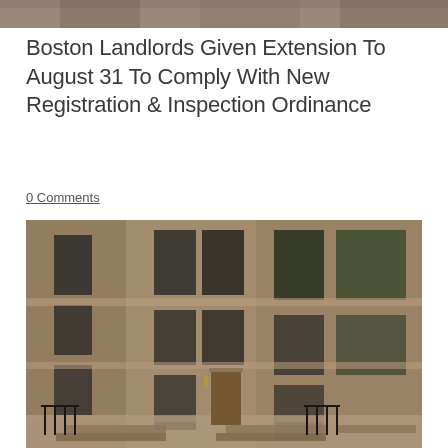[Figure (photo): Partial view of a building photo at the top of the page]
Boston Landlords Given Extension To August 31 To Comply With New Registration & Inspection Ordinance
0 Comments
[Figure (photo): Photograph of Boston brownstone row houses with bay windows, stone facades, iron railings, and front stoops]